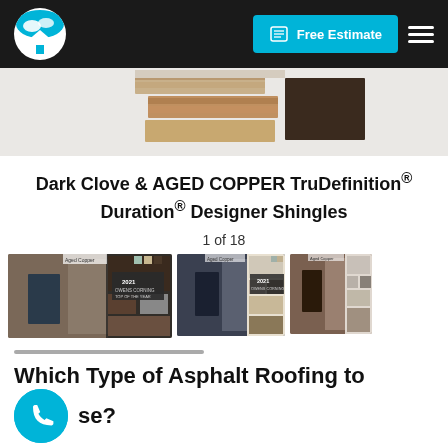Skywalker Roofing — Free Estimate | Navigation
[Figure (photo): Wood and dark material roofing shingle swatches displayed against white background]
Dark Clove & AGED COPPER TruDefinition® Duration® Designer Shingles
1 of 18
[Figure (photo): Three thumbnail images of house exterior designs using Aged Copper shingle color combinations with material swatches]
Which Type of Asphalt Roofing to Choose?
The kannapolis roofing contractors at Skywalker Roofing